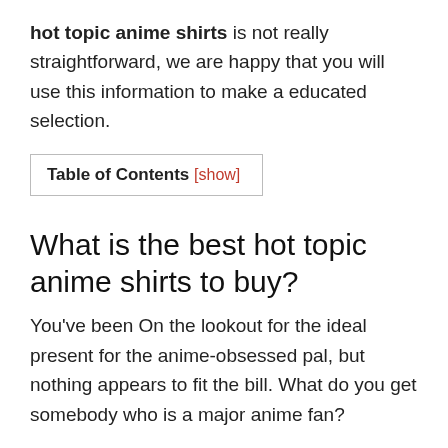hot topic anime shirts is not really straightforward, we are happy that you will use this information to make a educated selection.
| Table of Contents [show] |
| --- |
What is the best hot topic anime shirts to buy?
You've been On the lookout for the ideal present for the anime-obsessed pal, but nothing appears to fit the bill. What do you get somebody who is a major anime fan?